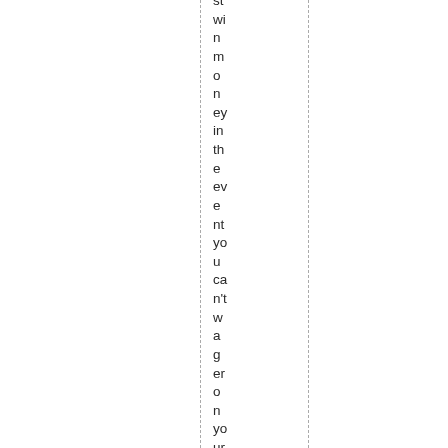st wi n m o n ey in th e ev e nt yo u ca n't w a g er o n yo ur us u al ga m